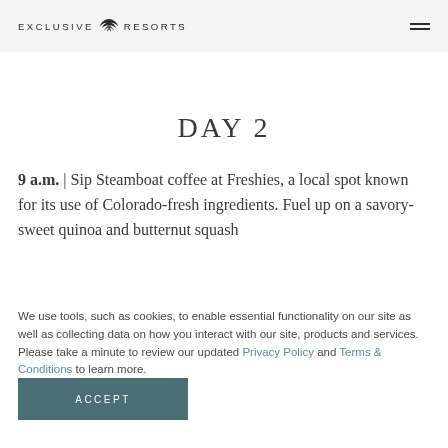EXCLUSIVE RESORTS
DAY 2
9 a.m. | Sip Steamboat coffee at Freshies, a local spot known for its use of Colorado-fresh ingredients. Fuel up on a savory-sweet quinoa and butternut squash…
We use tools, such as cookies, to enable essential functionality on our site as well as collecting data on how you interact with our site, products and services. Please take a minute to review our updated Privacy Policy and Terms & Conditions to learn more.
ACCEPT